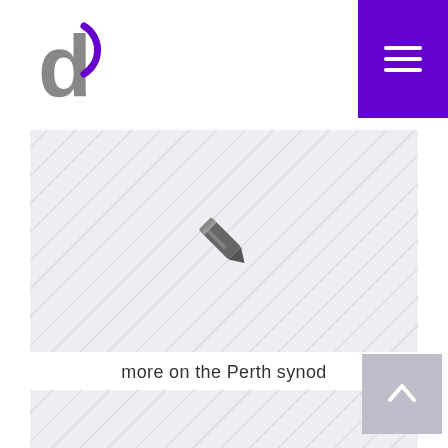d (logo) | menu button
[Figure (illustration): Card placeholder with diagonal stripe background and a pencil/edit icon in the center]
more on the Perth synod
September 15, 2006
[Figure (illustration): Second card placeholder with diagonal stripe background, partially visible at bottom of page]
[Figure (other): Scroll-to-top button with upward chevron arrow, grey background, bottom right corner]